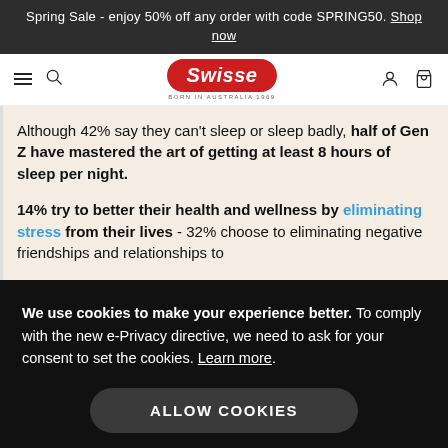Spring Sale - enjoy 50% off any order with code SPRING50. Shop now
[Figure (logo): Swisse brand logo - red oval with white italic text, 'BORN IN AUSTRALIA 1969' below]
Although 42% say they can't sleep or sleep badly, half of Gen Z have mastered the art of getting at least 8 hours of sleep per night.
14% try to better their health and wellness by eliminating stress from their lives - 32% choose to eliminating negative friendships and relationships to
We use cookies to make your experience better. To comply with the new e-Privacy directive, we need to ask for your consent to set the cookies. Learn more.
ALLOW COOKIES